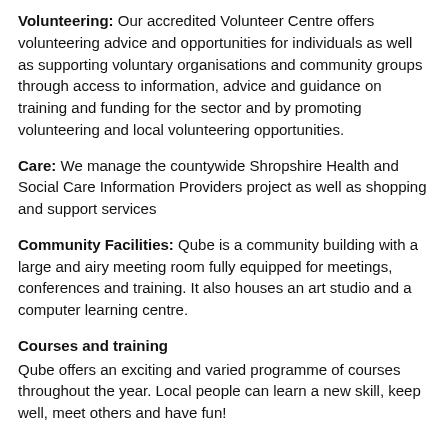Volunteering: Our accredited Volunteer Centre offers volunteering advice and opportunities for individuals as well as supporting voluntary organisations and community groups through access to information, advice and guidance on training and funding for the sector and by promoting volunteering and local volunteering opportunities.
Care: We manage the countywide Shropshire Health and Social Care Information Providers project as well as shopping and support services
Community Facilities: Qube is a community building with a large and airy meeting room fully equipped for meetings, conferences and training. It also houses an art studio and a computer learning centre.
Courses and training
Qube offers an exciting and varied programme of courses throughout the year. Local people can learn a new skill, keep well, meet others and have fun!